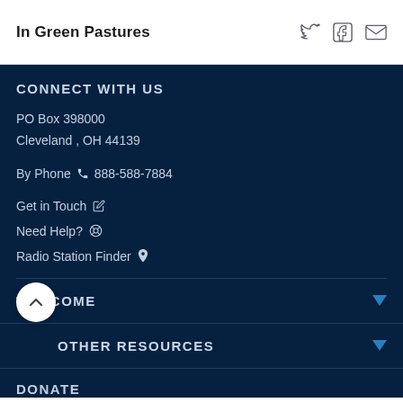In Green Pastures
CONNECT WITH US
PO Box 398000
Cleveland , OH 44139
By Phone 888-588-7884
Get in Touch
Need Help?
Radio Station Finder
WELCOME
OTHER RESOURCES
DONATE